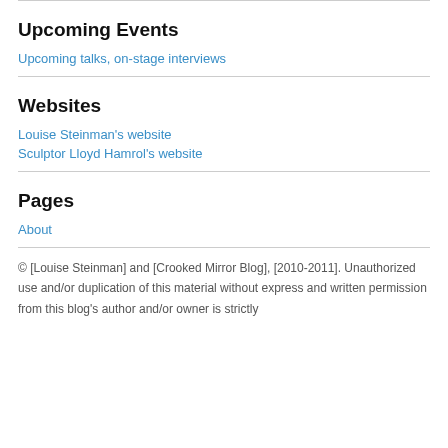Upcoming Events
Upcoming talks, on-stage interviews
Websites
Louise Steinman's website
Sculptor Lloyd Hamrol's website
Pages
About
© [Louise Steinman] and [Crooked Mirror Blog], [2010-2011]. Unauthorized use and/or duplication of this material without express and written permission from this blog's author and/or owner is strictly